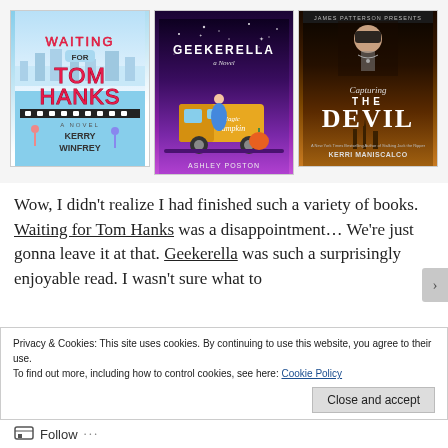[Figure (illustration): Three book covers side by side: 'Waiting for Tom Hanks' by Kerry Winfrey (colorful illustrated cover with blue sky), 'Geekerella' by Ashley Poston (purple cover with food truck), and 'Capturing the Devil' by Kerri Maniscalco (dark gothic cover with James Patterson Presents banner)]
Wow, I didn't realize I had finished such a variety of books. Waiting for Tom Hanks was a disappointment… We're just gonna leave it at that. Geekerella was such a surprisingly enjoyable read. I wasn't sure what to
Privacy & Cookies: This site uses cookies. By continuing to use this website, you agree to their use.
To find out more, including how to control cookies, see here: Cookie Policy
Follow